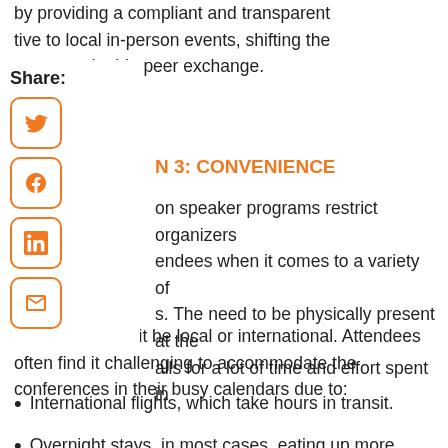by providing a compliant and transparent
tive to local in-person events, shifting the
o more valuable peer exchange.
N 3: CONVENIENCE
on speaker programs restrict organizers endees when it comes to a variety of s. The need to be physically present at the alls for a lot of time and effort spent in transit, whether it be local or international. Attendees often find it challenging to accommodate the conferences in their busy calendars due to:
International flights, which take hours in transit.
Overnight stays, in most cases, eating up more